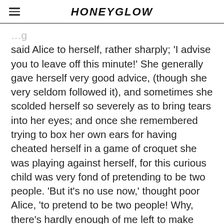HONEYGLOW
said Alice to herself, rather sharply; ‘I advise you to leave off this minute!’ She generally gave herself very good advice, (though she very seldom followed it), and sometimes she scolded herself so severely as to bring tears into her eyes; and once she remembered trying to box her own ears for having cheated herself in a game of croquet she was playing against herself, for this curious child was very fond of pretending to be two people. ‘But it’s no use now,’ thought poor Alice, ‘to pretend to be two people! Why, there’s hardly enough of me left to make one respectable person!’